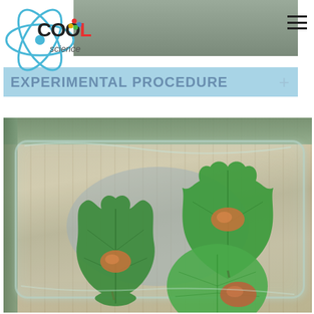[Figure (logo): Cool Science logo with atom graphic and colorful dots]
EXPERIMENTAL PROCEDURE
[Figure (photo): Glass baking dish on a weathered wooden surface containing three different leaves (fig, grape, and round leaf) each weighted down with a small piece of orange/brown clay or rock]